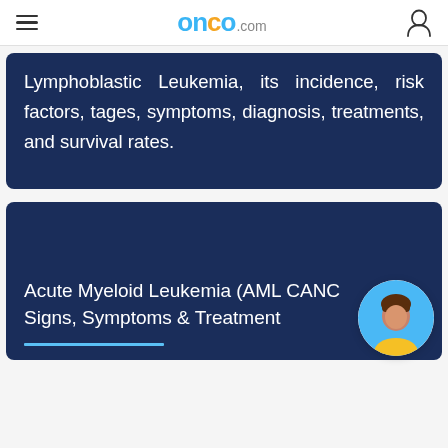onco.com
Lymphoblastic Leukemia, its incidence, risk factors, tages, symptoms, diagnosis, treatments, and survival rates.
Acute Myeloid Leukemia (AML CANC Signs, Symptoms & Treatment